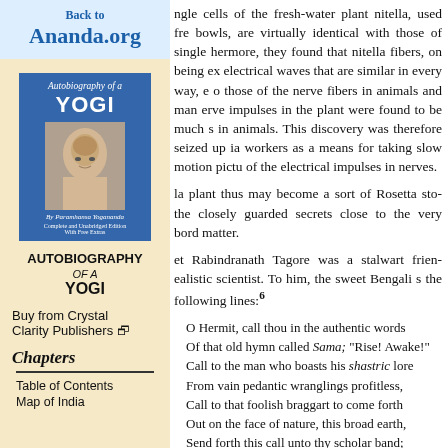Back to
Ananda.org
[Figure (illustration): Book cover of 'Autobiography of a Yogi' by Paramhansa Yogananda, blue background with a photo of the author]
AUTOBIOGRAPHY OF A YOGI
Buy from Crystal Clarity Publishers
Chapters
Table of Contents
Map of India
ngle cells of the fresh-water plant nitella, used fre... bowls, are virtually identical with those of single... hermore, they found that nitella fibers, on being ex... electrical waves that are similar in every way, e... o those of the nerve fibers in animals and man... erve impulses in the plant were found to be much s... in animals. This discovery was therefore seized up... ia workers as a means for taking slow motion pictu... of the electrical impulses in nerves.
la plant thus may become a sort of Rosetta sto... the closely guarded secrets close to the very bord... matter.
et Rabindranath Tagore was a stalwart frien... ealistic scientist. To him, the sweet Bengali s... the following lines:6
O Hermit, call thou in the authentic words
Of that old hymn called Sama; "Rise! Awake!"
Call to the man who boasts his shastric lore
From vain pedantic wranglings profitless,
Call to that foolish braggart to come forth
Out on the face of nature, this broad earth,
Send forth this call unto thy scholar band;
Gather together round thy sacrifice of fire
Let them all gather. So may our India,
Our ancient land unto herself return
To once again return to steadfast work,
To duty and devotion, to her trance